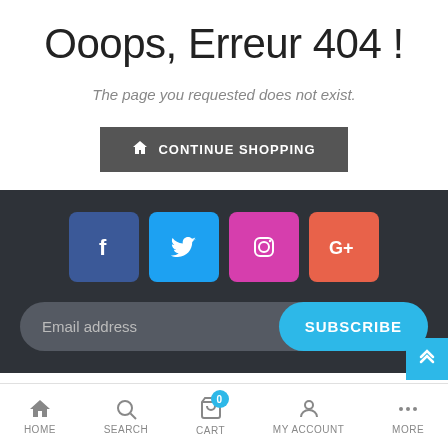Ooops, Erreur 404 !
The page you requested does not exist.
CONTINUE SHOPPING
[Figure (infographic): Social media icons: Facebook (blue), Twitter (light blue), Instagram (pink/magenta), Google+ (orange-red)]
Email address
SUBSCRIBE
Contact Information - Privacy Policy - Refund Policy - Terms Of Service - Shipping Policy
HOME  SEARCH  CART  MY ACCOUNT  MORE